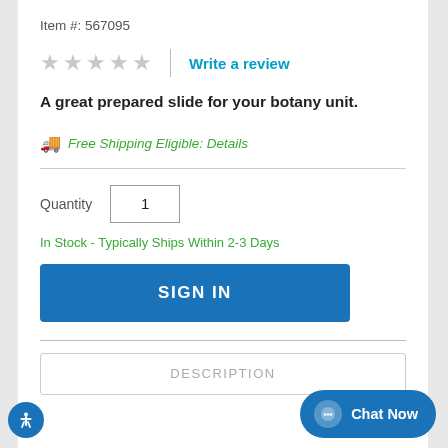Item #: 567095
★★★★★ | Write a review
A great prepared slide for your botany unit.
Free Shipping Eligible: Details
Quantity  1
In Stock - Typically Ships Within 2-3 Days
SIGN IN
DESCRIPTION
Chat Now